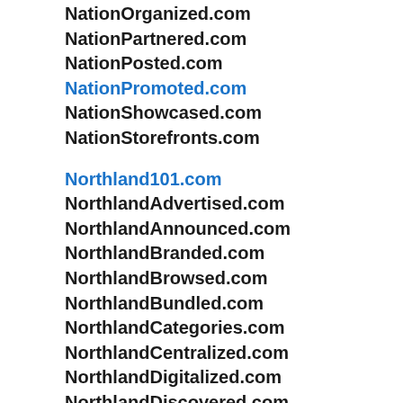NationOrganized.com
NationPartnered.com
NationPosted.com
NationPromoted.com
NationShowcased.com
NationStorefronts.com
Northland101.com
NorthlandAdvertised.com
NorthlandAnnounced.com
NorthlandBranded.com
NorthlandBrowsed.com
NorthlandBundled.com
NorthlandCategories.com
NorthlandCentralized.com
NorthlandDigitalized.com
NorthlandDiscovered.com
NorthlandDisplayed.com
NorthlandFeatured.com
NorthlandExplored.com